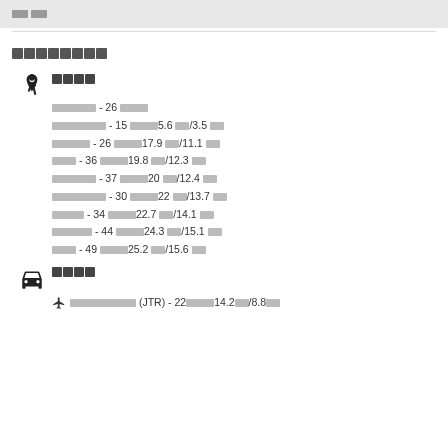설정 (placeholder header)
교통 정보 (placeholder section title)
도보 (Walk icon section)
버스정류장 - 26 (placeholder)
지하철역 - 15 분 거리5.6 km/3.5 마일
기차역 - 26 분 거리17.9 km/11.1 마일
공항 - 36 분 거리19.8 km/12.3 마일
터미널 - 37 분 거리20 km/12.4 마일
버스터미널 - 30 분 거리22 km/13.7 마일
기차 - 34 분 거리22.7 km/14.1 마일
지하철 - 44 분 거리24.3 km/15.1 마일
공항 - 49 분 거리25.2 km/15.6 마일
자동차 (Car icon section)
✈ 산타로사공항 (JTR) - 22 분 거리14.2 km/8.8 마일